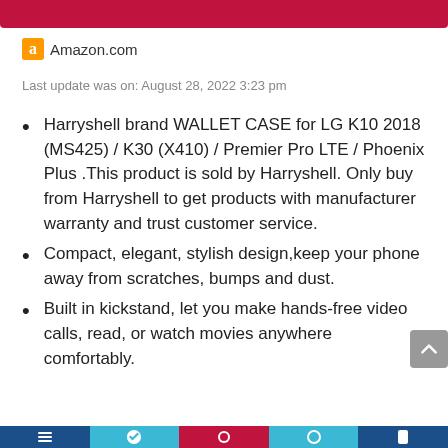Amazon.com
Last update was on: August 28, 2022 3:23 pm
Harryshell brand WALLET CASE for LG K10 2018 (MS425) / K30 (X410) / Premier Pro LTE / Phoenix Plus .This product is sold by Harryshell. Only buy from Harryshell to get products with manufacturer warranty and trust customer service.
Compact, elegant, stylish design,keep your phone away from scratches, bumps and dust.
Built in kickstand, let you make hands-free video calls, read, or watch movies anywhere comfortably.